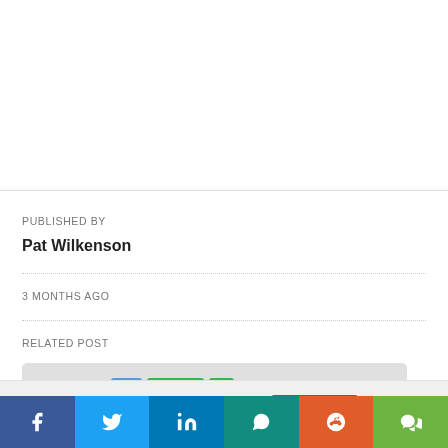PUBLISHED BY
Pat Wilkenson
3 MONTHS AGO
RELATED POST
[Figure (screenshot): Partial screenshot of a chip/processor label showing Intel Core i7 4770K processor badge]
This website uses cookies.
Accept
[Figure (infographic): Social media share buttons: Facebook, Twitter, LinkedIn, WhatsApp, Reddit, WeChat]